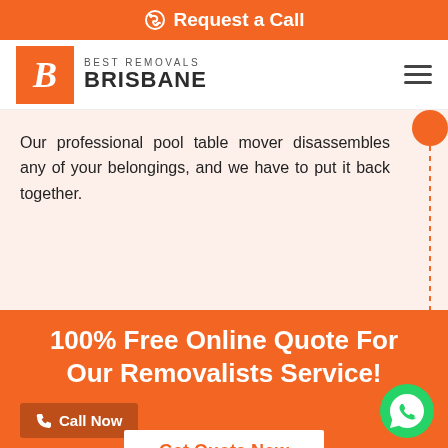Request a Call
[Figure (logo): Best Removals Brisbane logo with orange B icon and company name]
Our professional pool table mover disassembles any of your belongings, and we have to put it back together.
100% Free Online Quote For Our Removalists Service!
Call Now
Get Quote Now